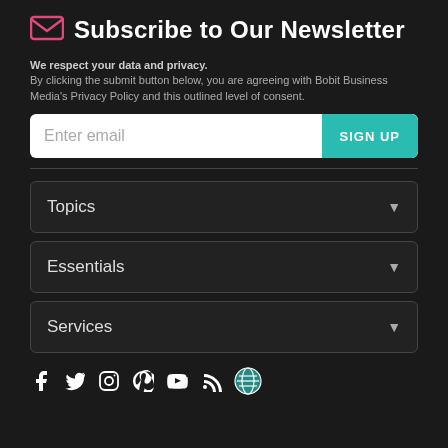Subscribe to Our Newsletter
We respect your data and privacy. By clicking the submit button below, you are agreeing with Bobit Business Media's Privacy Policy and this outlined level of consent.
[Figure (screenshot): Email input field with placeholder 'Enter email' and a teal SIGN UP button]
Topics
Essentials
Services
[Figure (infographic): Social media icons row: Facebook, Twitter, Instagram, Pinterest, YouTube, RSS, globe/network icon]